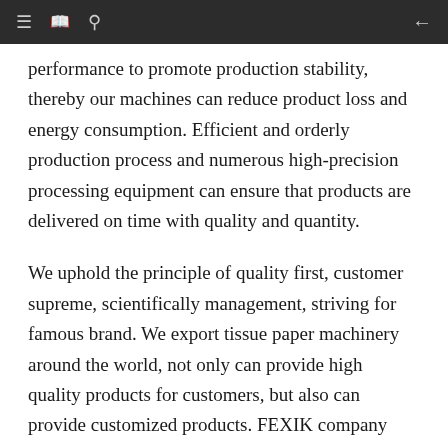performance to promote production stability, thereby our machines can reduce product loss and energy consumption. Efficient and orderly production process and numerous high-precision processing equipment can ensure that products are delivered on time with quality and quantity.
We uphold the principle of quality first, customer supreme, scientifically management, striving for famous brand. We export tissue paper machinery around the world, not only can provide high quality products for customers, but also can provide customized products. FEXIK company will continue to enhance its core competitiveness, optimize product structure, improve management mechanisms and actively introduce